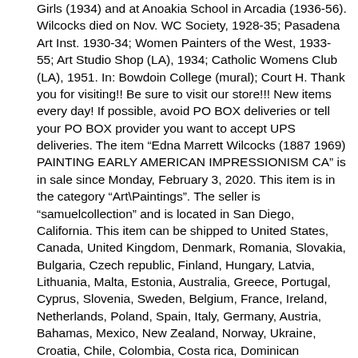Girls (1934) and at Anoakia School in Arcadia (1936-56). Wilcocks died on Nov. WC Society, 1928-35; Pasadena Art Inst. 1930-34; Women Painters of the West, 1933-55; Art Studio Shop (LA), 1934; Catholic Womens Club (LA), 1951. In: Bowdoin College (mural); Court H. Thank you for visiting!! Be sure to visit our store!!! New items every day! If possible, avoid PO BOX deliveries or tell your PO BOX provider you want to accept UPS deliveries. The item “Edna Marrett Wilcocks (1887 1969) PAINTING EARLY AMERICAN IMPRESSIONISM CA” is in sale since Monday, February 3, 2020. This item is in the category “Art\Paintings”. The seller is “samuelcollection” and is located in San Diego, California. This item can be shipped to United States, Canada, United Kingdom, Denmark, Romania, Slovakia, Bulgaria, Czech republic, Finland, Hungary, Latvia, Lithuania, Malta, Estonia, Australia, Greece, Portugal, Cyprus, Slovenia, Sweden, Belgium, France, Ireland, Netherlands, Poland, Spain, Italy, Germany, Austria, Bahamas, Mexico, New Zealand, Norway, Ukraine, Croatia, Chile, Colombia, Costa rica, Dominican republic, Panama, Trinidad and tobago, Guatemala, El salvador, Honduras, Jamaica, Antigua and barbuda, Aruba, Belize, Dominica, Grenada, Saint kitts and nevis, Saint lucia, Montserrat, Turks and caicos islands, Barbados, Bermuda, Bolivia, Ecuador, French guiana, Guernsey, Gibraltar, Guadeloupe, Iceland, Jersey,